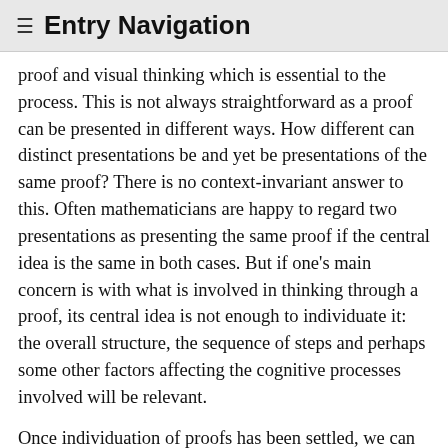≡ Entry Navigation
proof and visual thinking which is essential to the process. This is not always straightforward as a proof can be presented in different ways. How different can distinct presentations be and yet be presentations of the same proof? There is no context-invariant answer to this. Often mathematicians are happy to regard two presentations as presenting the same proof if the central idea is the same in both cases. But if one's main concern is with what is involved in thinking through a proof, its central idea is not enough to individuate it: the overall structure, the sequence of steps and perhaps some other factors affecting the cognitive processes involved will be relevant.
Once individuation of proofs has been settled, we can distinguish between replaceable thinking and superfluous thinking, where these attributions are understood as relative to a given argument or proof. In the process of thinking through a proof, a given part of the thinking is replaceable if thinking of some other kind could stand in